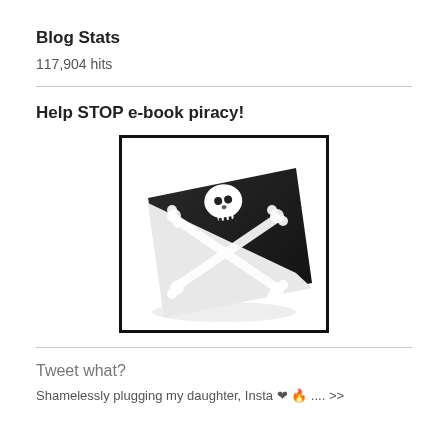Blog Stats
117,904 hits
Help STOP e-book piracy!
[Figure (illustration): A black book with a pirate skull-and-crossbones design on the cover, photographed at an angle with white pages visible on the side, inside a black-bordered rectangle.]
Tweet what?
Shamelessly plugging my daughter, Insta ❤ 🔥 .... >>